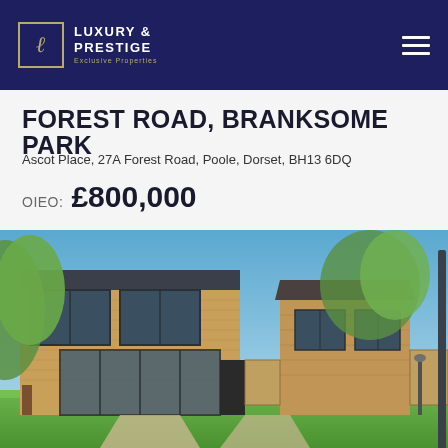LUXURY & PRESTIGE Exclusive Properties
FOREST ROAD, BRANKSOME PARK
Ascot Place, 27A Forest Road, Poole, Dorset, BH13 6DQ
OIEO: £800,000
[Figure (photo): Exterior photograph of a modern brick townhouse with large glazed bi-fold doors, lush green lawn in the foreground, blue sky with trees in the background, situated at Forest Road, Branksome Park.]